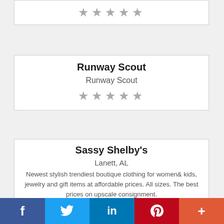★★★★★ (stars, top card, partial)
Runway Scout
Runway Scout
★★★★★
Sassy Shelby's
Lanett, AL
Newest stylish trendiest boutique clothing for women& kids, jewelry and gift items at affordable prices. All sizes. The best prices on upscale consignment.
★★★★★
f  Twitter  in  P  +